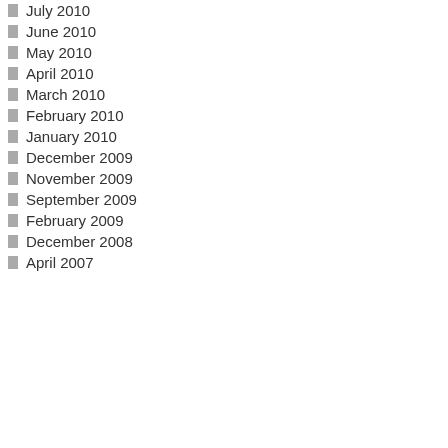July 2010
June 2010
May 2010
April 2010
March 2010
February 2010
January 2010
December 2009
November 2009
September 2009
February 2009
December 2008
April 2007
as ca p e it is. T h e n et is fa st b ec o mi n g th e d es tin ati o n w h er